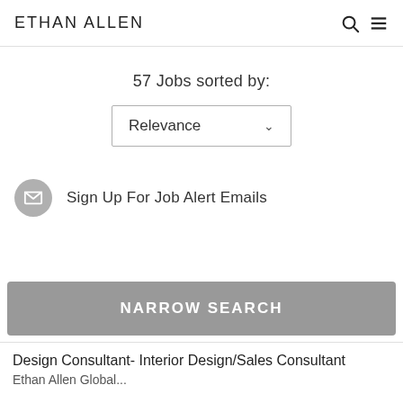ETHAN ALLEN
57 Jobs sorted by:
Relevance
Sign Up For Job Alert Emails
NARROW SEARCH
Design Consultant- Interior Design/Sales Consultant
Ethan Allen Global...